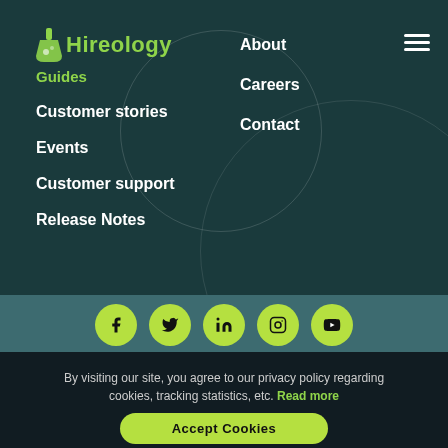[Figure (logo): Hireology logo with green flask icon and green text]
Guides
Customer stories
Events
Customer support
Release Notes
About
Careers
Contact
[Figure (infographic): Social media icons row: Facebook, Twitter, LinkedIn, Instagram, YouTube — each in a yellow-green circle]
By visiting our site, you agree to our privacy policy regarding cookies, tracking statistics, etc. Read more
Accept Cookies